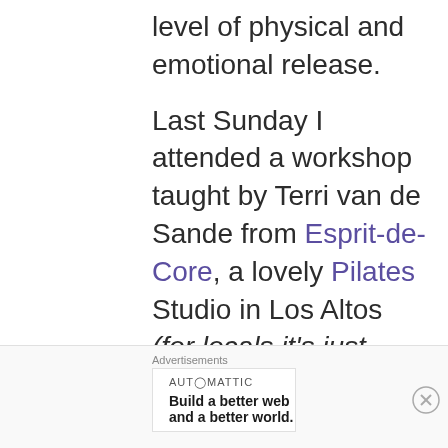level of physical and emotional release.

Last Sunday I attended a workshop taught by Terri van de Sande from Esprit-de-Core, a lovely Pilates Studio in Los Altos (for locals it's just behind Chef Chu's).  Terri is a Pilates instructor and Thai Massage expert.  During the afternoon workshop we worked in teams while Terri
Advertisements
AUTOMATTIC
Build a better web and a better world.